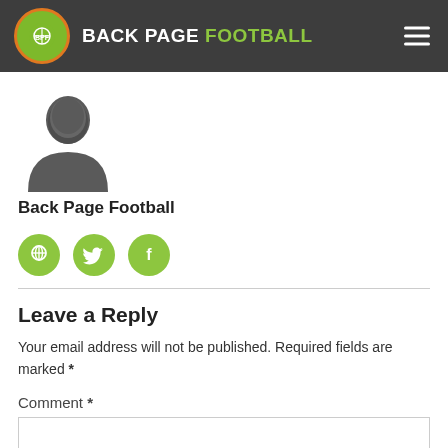BACK PAGE FOOTBALL
[Figure (logo): Back Page Football logo with green circle, BPF text, and football icon]
[Figure (photo): Silhouette avatar of a person (author placeholder image)]
Back Page Football
[Figure (infographic): Three green circular social media icons: website/pin, Twitter, Facebook]
Leave a Reply
Your email address will not be published. Required fields are marked *
Comment *